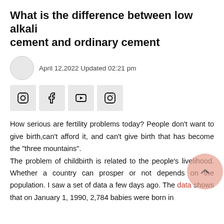What is the difference between low alkali cement and ordinary cement
April 12,2022 Updated 02:21 pm
[Figure (other): Social media icon buttons: Instagram, Facebook, YouTube, Instagram]
How serious are fertility problems today? People don't want to give birth,can't afford it, and can't give birth that has become the "three mountains".
The problem of childbirth is related to the people's livelihood. Whether a country can prosper or not depends on the population. I saw a set of data a few days ago. The data shows that on January 1, 1990, 2,784 babies were born in